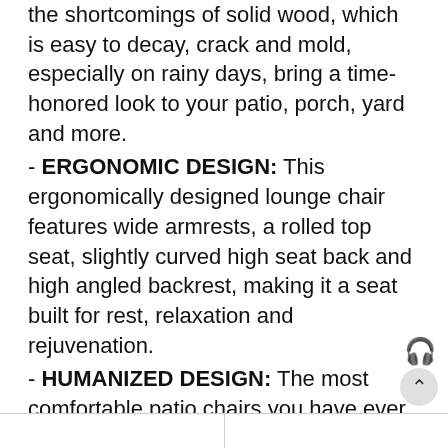the shortcomings of solid wood, which is easy to decay, crack and mold, especially on rainy days, bring a time-honored look to your patio, porch, yard and more.
- ERGONOMIC DESIGN: This ergonomically designed lounge chair features wide armrests, a rolled top seat, slightly curved high seat back and high angled backrest, making it a seat built for rest, relaxation and rejuvenation.
- HUMANIZED DESIGN: The most comfortable patio chairs you have ever sat in, giving ample space between the arms to accommodate most body type.
- DECK CHAIR INFORMATION   OVERALL DIMENSIONS: 29.5" W x 34.25" D x 36.5" H  Weight capacity: 330 lbs